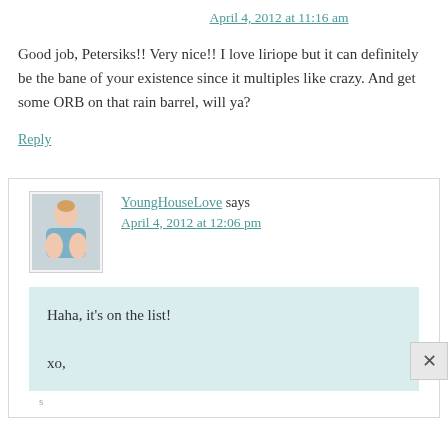April 4, 2012 at 11:16 am
Good job, Petersiks!! Very nice!! I love liriope but it can definitely be the bane of your existence since it multiples like crazy. And get some ORB on that rain barrel, will ya?
Reply
YoungHouseLove says
April 4, 2012 at 12:06 pm
Haha, it’s on the list!

xo,
s